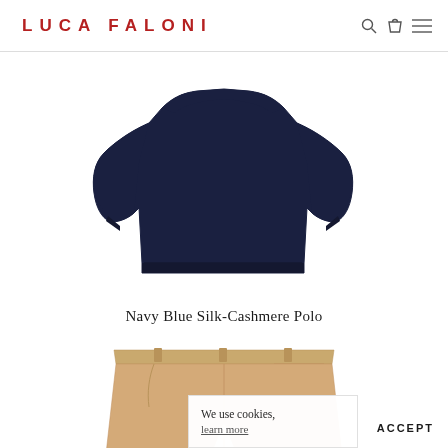LUCA FALONI
[Figure (photo): Navy blue silk-cashmere polo sweater laid flat on white background]
Navy Blue Silk-Cashmere Polo
[Figure (photo): Tan/khaki chino trousers folded flat on white background]
We use cookies, learn more
ACCEPT